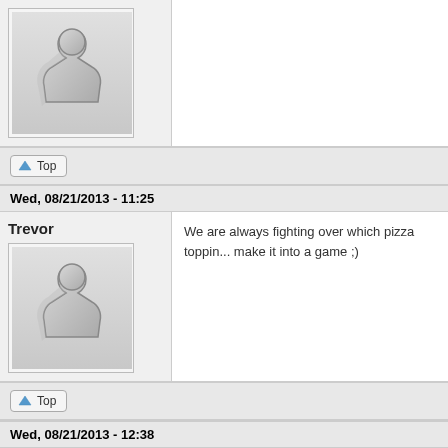[Figure (illustration): Gray meeple avatar icon on light gray background]
Top
Wed, 08/21/2013 - 11:25
Trevor
[Figure (illustration): Gray meeple avatar icon on light gray background]
We are always fighting over which pizza toppin... make it into a game ;)
Top
Wed, 08/21/2013 - 12:38
Carl Miller
Is this game so good, I will want it delivered?